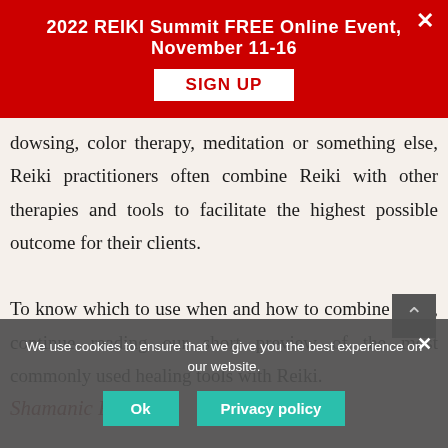2022 REIKI Summit FREE Online Event, November 11-16
SIGN UP
dowsing, color therapy, meditation or something else, Reiki practitioners often combine Reiki with other therapies and tools to facilitate the highest possible outcome for their clients.

To know which to use when and how to combine them, continue reading our short preview of the most commonly used healing tools with Reiki.
Shamanic Reiki
We use cookies to ensure that we give you the best experience on our website.